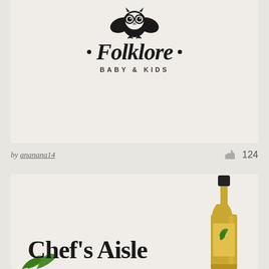[Figure (logo): Folklore Baby & Kids logo — hand-drawn owl illustration above stylized italic 'Folklore' text with bullet points, and 'BABY & KIDS' in uppercase spaced letters below]
by ananana14
124
[Figure (logo): Chef's Aisle logo — bold serif text 'Chef's Aisle' with an illustrated olive oil bottle on the right and green leaf/herb illustrations]